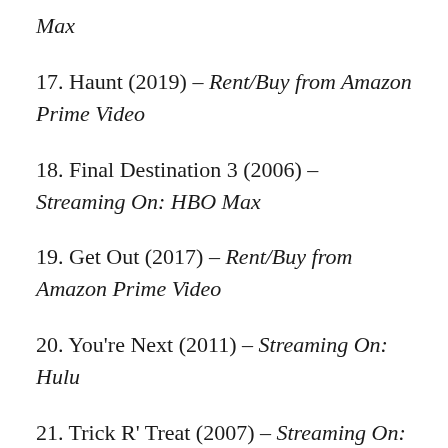Max
17. Haunt (2019) – Rent/Buy from Amazon Prime Video
18. Final Destination 3 (2006) – Streaming On: HBO Max
19. Get Out (2017) – Rent/Buy from Amazon Prime Video
20. You're Next (2011) – Streaming On: Hulu
21. Trick R' Treat (2007) – Streaming On: HBO